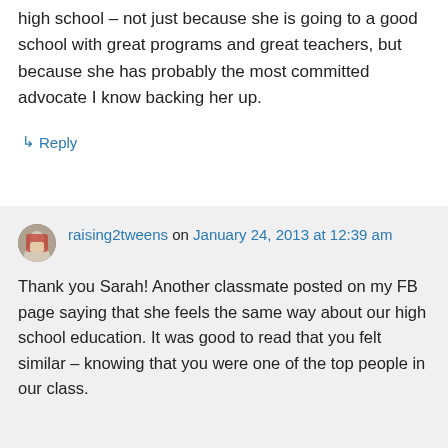high school – not just because she is going to a good school with great programs and great teachers, but because she has probably the most committed advocate I know backing her up.
↳ Reply
raising2tweens on January 24, 2013 at 12:39 am
Thank you Sarah! Another classmate posted on my FB page saying that she feels the same way about our high school education. It was good to read that you felt similar – knowing that you were one of the top people in our class.